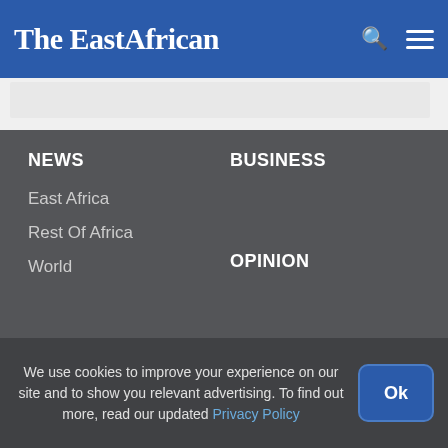The EastAfrican
NEWS
East Africa
Rest Of Africa
World
BUSINESS
OPINION
SCIENCE & HEALTH
We use cookies to improve your experience on our site and to show you relevant advertising. To find out more, read our updated Privacy Policy